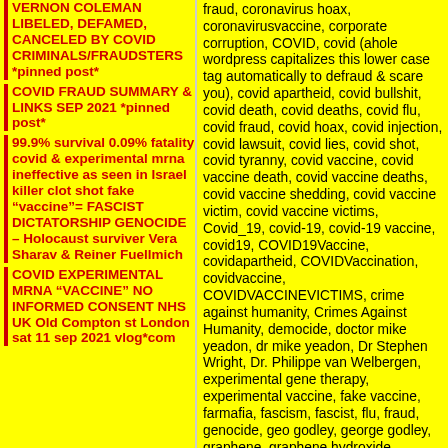VERNON COLEMAN LIBELED, DEFAMED, CANCELED BY COVID CRIMINALS/FRAUDSTERS *pinned post*
COVID FRAUD SUMMARY & LINKS SEP 2021 *pinned post*
99.9% survival 0.09% fatality covid & experimental mrna ineffective as seen in Israel killer clot shot fake "vaccine"= FASCIST DICTATORSHIP GENOCIDE – Holocaust surviver Vera Sharav & Reiner Fuellmich
COVID EXPERIMENTAL MRNA "VACCINE" NO INFORMED CONSENT NHS UK Old Compton st London sat 11 sep 2021 vlog*com
fraud, coronavirus hoax, coronavirusvaccine, corporate corruption, COVID, covid (ahole wordpress capitalizes this lower case tag automatically to defraud & scare you), covid apartheid, covid bullshit, covid death, covid deaths, covid flu, covid fraud, covid hoax, covid injection, covid lawsuit, covid lies, covid shot, covid tyranny, covid vaccine, covid vaccine death, covid vaccine deaths, covid vaccine shedding, covid vaccine victim, covid vaccine victims, Covid_19, covid-19, covid-19 vaccine, covid19, COVID19Vaccine, covidapartheid, COVIDVaccination, covidvaccine, COVIDVACCINEVICTIMS, crime against humanity, Crimes Against Humanity, democide, doctor mike yeadon, dr mike yeadon, Dr Stephen Wright, Dr. Philippe van Welbergen, experimental gene therapy, experimental vaccine, fake vaccine, farmafia, fascism, fascist, flu, fraud, genocide, geo godley, george godley, graphene, graphene hydroxide, graphene oxide, graphene shedding, international criminal court, josef mengele, joseph